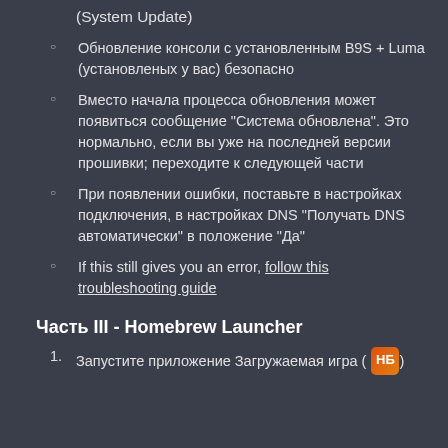(System Update)
Обновление консоли с установленным B9S + Luma (установленых у вас) безопасно
Вместо начала процесса обновления может появиться сообщение «Система обновлена». Это нормально, если вы уже на последней версии прошивки; переходите к следующей части
При появлении ошибки, поставьте в настройках подключения, в настройках DNS «Получать DNS автоматически» в положение «Да»
If this still gives you an error, follow this troubleshooting guide
Часть III - Homebrew Launcher
1. Запустите приложение Загружаемая игра (icon)